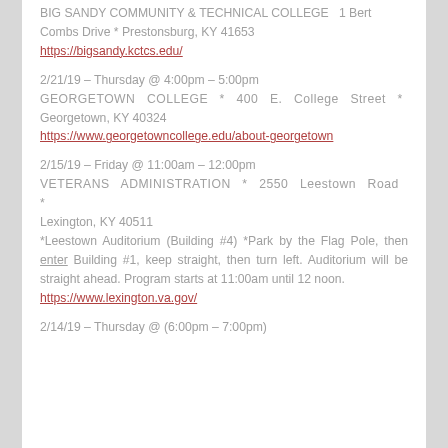BIG SANDY COMMUNITY & TECHNICAL COLLEGE  *  1 Bert Combs Drive * Prestonsburg, KY 41653
https://bigsandy.kctcs.edu/
2/21/19 – Thursday @ 4:00pm – 5:00pm
GEORGETOWN  COLLEGE  *  400  E.  College  Street  *  Georgetown, KY 40324
https://www.georgetowncollege.edu/about-georgetown
2/15/19 – Friday @ 11:00am – 12:00pm
VETERANS  ADMINISTRATION  *  2550  Leestown  Road  *  Lexington, KY 40511
*Leestown Auditorium (Building #4) *Park by the Flag Pole, then enter Building #1, keep straight, then turn left. Auditorium will be straight ahead. Program starts at 11:00am until 12 noon.
https://www.lexington.va.gov/
2/14/19 – Thursday @ (6:00pm – 7:00pm)